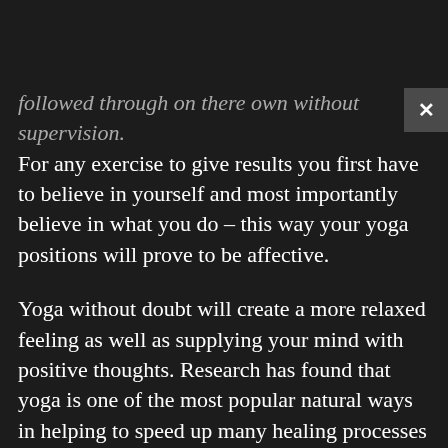followed through on there own without supervision. For any exercise to give results you first have to believe in yourself and most importantly believe in what you do – this way your yoga positions will prove to be affective.
Yoga without doubt will create a more relaxed feeling as well as supplying your mind with positive thoughts. Research has found that yoga is one of the most popular natural ways in helping to speed up many healing processes of an illness.(Depending on the illness) In your new world of yoga you will begin to notice the change in your joint flexibility after practicing the basic yoga positions. By doing these exercises you take possession of the (The take two factor) looking and feeling good.